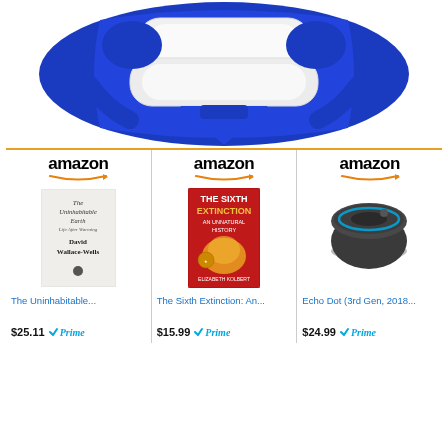[Figure (photo): Amazon product image showing white pillows in blue packaging, partially visible at top of page]
[Figure (screenshot): Amazon product listing card for 'The Uninhabitable...' book, price $25.11, Prime eligible]
[Figure (screenshot): Amazon product listing card for 'The Sixth Extinction: An...' book, price $15.99, Prime eligible]
[Figure (screenshot): Amazon product listing card for 'Echo Dot (3rd Gen, 2018...' device, price $24.99, Prime eligible]